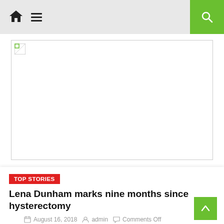Navigation bar with home icon, menu icon, and search button
[Figure (photo): Broken image placeholder — article featured image failed to load]
TOP STORIES
Lena Dunham marks nine months since hysterectomy
August 16, 2018  admin  Comments Off